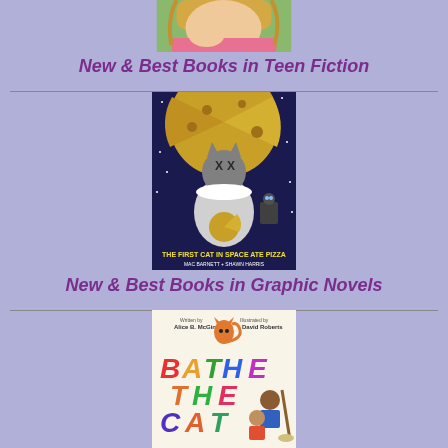[Figure (illustration): Partial illustration of a girl with blonde hair and pink top, cropped at top of page]
New & Best Books in Teen Fiction
[Figure (illustration): Book cover: The First Cat in Space Ate Pizza by Mac Barnett and Shawn Harris. Dark space scene with a cat in a spacesuit holding a pizza, moon-like pizza in background.]
New & Best Books in Graphic Novels
[Figure (illustration): Book cover: Bathe the Cat by Alice B. McGinty, illustrated by David Roberts. Colorful letters spelling out title, cartoon children and cat characters.]